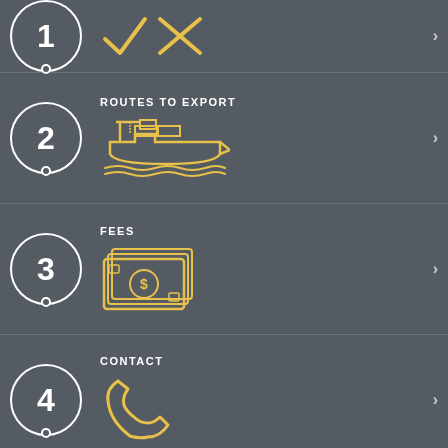[Figure (infographic): Row 1 partial: Circle with number 1 and checkmark/X icons, with arrow]
[Figure (infographic): Row 2: Circle with number 2, label ROUTES TO EXPORT, cargo ship icon, arrow]
[Figure (infographic): Row 3: Circle with number 3, label FEES, money/cash icon, arrow]
[Figure (infographic): Row 4: Circle with number 4, label CONTACT, phone icon, arrow]